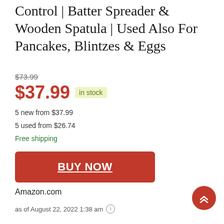Control | Batter Spreader & Wooden Spatula | Used Also For Pancakes, Blintzes & Eggs
$73.99 (strikethrough)
$37.99 in stock
5 new from $37.99
5 used from $26.74
Free shipping
BUY NOW
Amazon.com
as of August 22, 2022 1:38 am